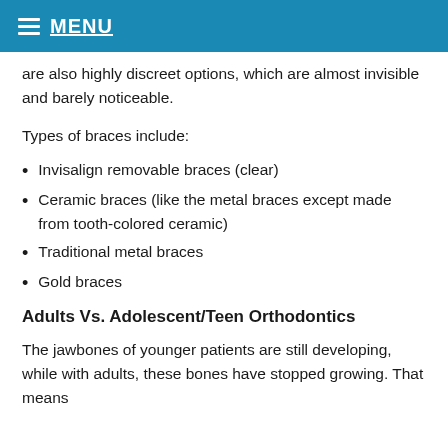MENU
are also highly discreet options, which are almost invisible and barely noticeable.
Types of braces include:
Invisalign removable braces (clear)
Ceramic braces (like the metal braces except made from tooth-colored ceramic)
Traditional metal braces
Gold braces
Adults Vs. Adolescent/Teen Orthodontics
The jawbones of younger patients are still developing, while with adults, these bones have stopped growing. That means